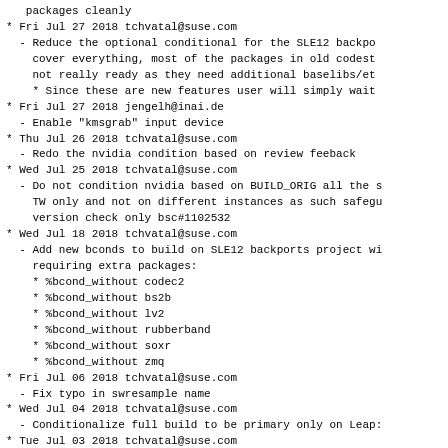packages cleanly
* Fri Jul 27 2018 tchvatal@suse.com
  - Reduce the optional conditional for the SLE12 backpo
    cover everything, most of the packages in old codest
    not really ready as they need additional baselibs/et
    * Since these are new features user will simply wait
* Fri Jul 27 2018 jengelh@inai.de
  - Enable "kmsgrab" input device
* Thu Jul 26 2018 tchvatal@suse.com
  - Redo the nvidia condition based on review feeback
* Wed Jul 25 2018 tchvatal@suse.com
  - Do not condition nvidia based on BUILD_ORIG all the s
    TW only and not on different instances as such safegu
    version check only bsc#1102532
* Wed Jul 18 2018 tchvatal@suse.com
  - Add new bconds to build on SLE12 backports project wi
    requiring extra packages:
    * %bcond_without codec2
    * %bcond_without bs2b
    * %bcond_without lv2
    * %bcond_without rubberband
    * %bcond_without soxr
    * %bcond_without zmq
* Fri Jul 06 2018 tchvatal@suse.com
  - Fix typo in swresample name
* Wed Jul 04 2018 tchvatal@suse.com
  - Conditionalize full build to be primary only on Leap:
* Tue Jul 03 2018 tchvatal@suse.com
  - Add macros to allow conflicting with all other devel
    to ensure we always install only one specific ffmpeg